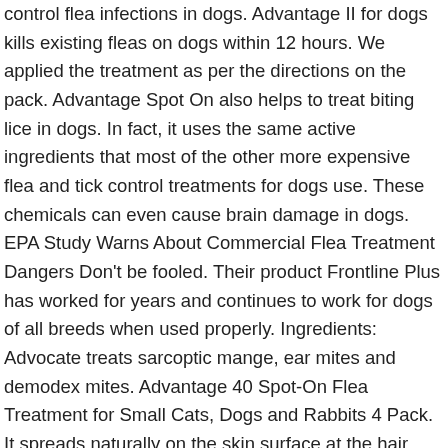control flea infections in dogs. Advantage II for dogs kills existing fleas on dogs within 12 hours. We applied the treatment as per the directions on the pack. Advantage Spot On also helps to treat biting lice in dogs. In fact, it uses the same active ingredients that most of the other more expensive flea and tick control treatments for dogs use. These chemicals can even cause brain damage in dogs. EPA Study Warns About Commercial Flea Treatment Dangers Don't be fooled. Their product Frontline Plus has worked for years and continues to work for dogs of all breeds when used properly. Ingredients: Advocate treats sarcoptic mange, ear mites and demodex mites. Advantage 40 Spot-On Flea Treatment for Small Cats, Dogs and Rabbits 4 Pack. It spreads naturally on the skin surface at the hair root level, aided by body movement to provide whole body coverage. For more powerful flea-fighting action, fortify your lemon flea spray by adding a sprig of rosemary, salt and/or apple cider vinegar. We are not veterinarians. The sound frequency used is considered safe for